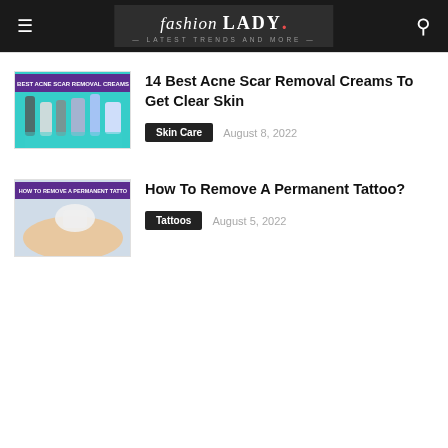Fashion Lady – Latest Trends and More
[Figure (screenshot): Thumbnail image for acne scar removal creams article showing skincare products on teal background with text 'BEST ACNE SCAR REMOVAL CREAMS']
14 Best Acne Scar Removal Creams To Get Clear Skin
Skin Care   August 8, 2022
[Figure (screenshot): Thumbnail image for permanent tattoo removal article showing a hand in glove treating skin with text 'HOW TO REMOVE A PERMANENT TATTO']
How To Remove A Permanent Tattoo?
Tattoos   August 5, 2022